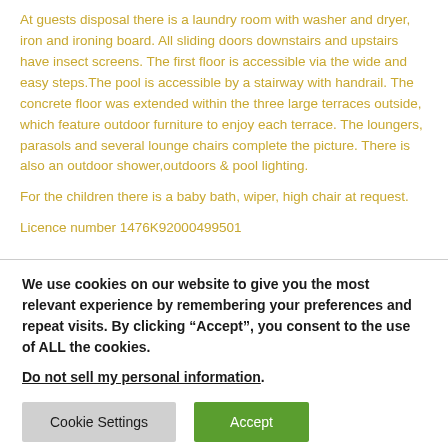At guests disposal there is a laundry room with washer and dryer, iron and ironing board. All sliding doors downstairs and upstairs have insect screens. The first floor is accessible via the wide and easy steps.The pool is accessible by a stairway with handrail. The concrete floor was extended within the three large terraces outside, which feature outdoor furniture to enjoy each terrace. The loungers, parasols and several lounge chairs complete the picture. There is also an outdoor shower,outdoors & pool lighting.
For the children there is a baby bath, wiper, high chair at request.
Licence number 1476K92000499501
We use cookies on our website to give you the most relevant experience by remembering your preferences and repeat visits. By clicking “Accept”, you consent to the use of ALL the cookies.
Do not sell my personal information.